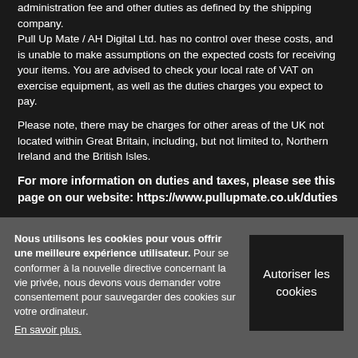administration fee and other duties as defined by the shipping company. Pull Up Mate / AH Digital Ltd. has no control over these costs, and is unable to make assumptions on the expected costs for receiving your items. You are advised to check your local rate of VAT on exercise equipment, as well as the duties charges you expect to pay.
Please note, there may be charges for other areas of the UK not located within Great Britain, including, but not limited to, Northern Ireland and the British Isles.
For more information on duties and taxes, please see this page on our website: https://www.pullupmate.co.uk/duties
Nous utilisons les cookies pour vous offrir une meilleure expérience utilisateur. Pour se conformer à la nouvelle directive concernant la vie privée, nous devons vous demander votre consentement pour sauvegarder des cookies sur votre ordinateur. En savoir plus.
Autoriser les cookies